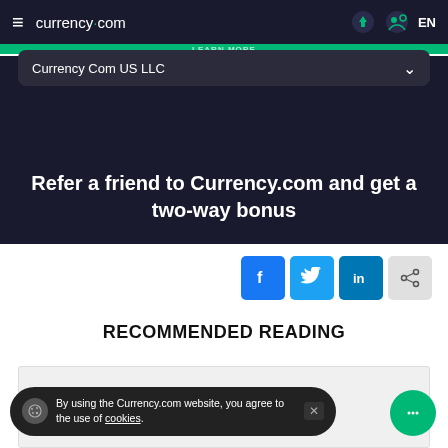currency.com  EN
Currency Com US LLC
Refer a friend to Currency.com and get a two-way bonus
[Figure (infographic): Social sharing buttons: Facebook, Twitter, LinkedIn, and a generic share icon]
RECOMMENDED READING
By using the Currency.com website, you agree to the use of cookies.